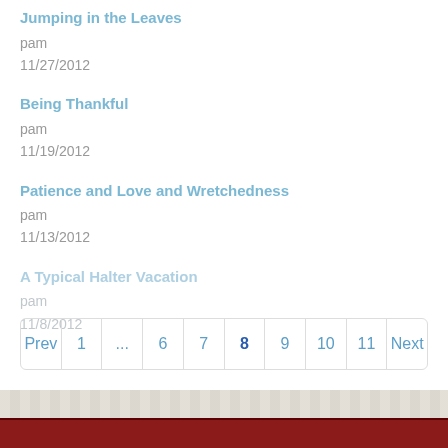Jumping in the Leaves
pam
11/27/2012
Being Thankful
pam
11/19/2012
Patience and Love and Wretchedness
pam
11/13/2012
A Typical Halter Vacation
pam
11/8/2012
| Prev | 1 | ... | 6 | 7 | 8 | 9 | 10 | 11 | Next |
| --- | --- | --- | --- | --- | --- | --- | --- | --- | --- |